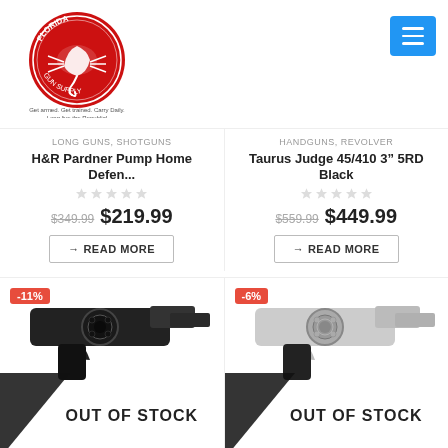[Figure (logo): Florida Gun Supply circular logo with scorpion, red background, text: Get armed. Get trained. Carry Daily. Long live the Republic!]
[Figure (other): Blue hamburger menu button with three white lines]
LONG GUNS, SHOTGUNS
H&R Pardner Pump Home Defen...
$349.99  $219.99
→ READ MORE
HANDGUNS, REVOLVER
Taurus Judge 45/410 3" 5RD Black
$559.99  $449.99
→ READ MORE
[Figure (photo): Black revolver handgun product photo with -11% badge and OUT OF STOCK overlay]
[Figure (photo): Silver/chrome revolver handgun product photo with -6% badge and OUT OF STOCK overlay]